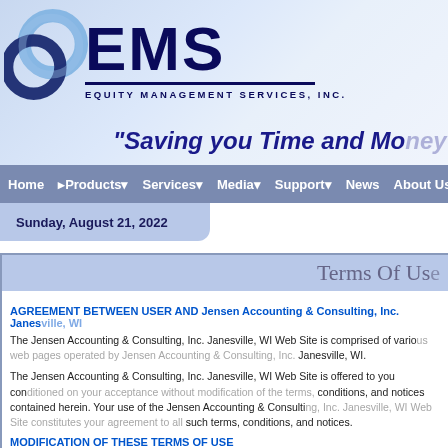[Figure (logo): EMS Equity Management Services, Inc. logo with interlocking rings and large EMS text]
"Saving you Time and Money"
Home  Products  Services  Media  Support  News  About Us
Sunday, August 21, 2022
Terms Of Use
AGREEMENT BETWEEN USER AND Jensen Accounting & Consulting, Inc. Janesville, WI
The Jensen Accounting & Consulting, Inc. Janesville, WI Web Site is comprised of various web pages operated by Jensen Accounting & Consulting, Inc. Janesville, WI.
The Jensen Accounting & Consulting, Inc. Janesville, WI Web Site is offered to you conditioned on your acceptance without modification of the terms, conditions, and notices contained herein. Your use of the Jensen Accounting & Consulting, Inc. Janesville, WI Web Site constitutes your agreement to all such terms, conditions, and notices.
MODIFICATION OF THESE TERMS OF USE
Jensen Accounting & Consulting, Inc. Janesville, WI reserves the right to change the terms